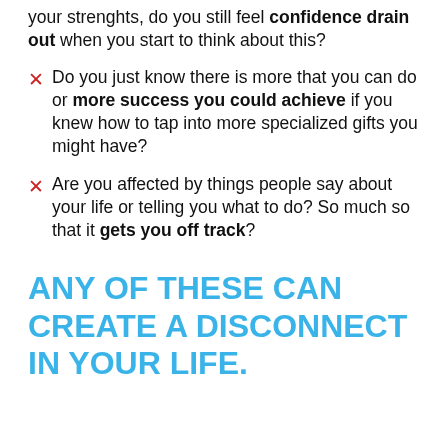your strenghts, do you still feel confidence drain out when you start to think about this?
Do you just know there is more that you can do or more success you could achieve if you knew how to tap into more specialized gifts you might have?
Are you affected by things people say about your life or telling you what to do? So much so that it gets you off track?
ANY OF THESE CAN CREATE A DISCONNECT IN YOUR LIFE.